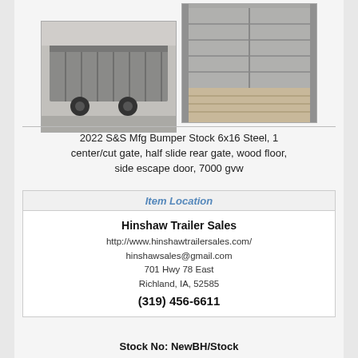[Figure (photo): Photo of a gray steel stock trailer exterior side view]
[Figure (photo): Photo of the interior of a gray steel stock trailer, showing walls and wood floor]
2022 S&S Mfg Bumper Stock 6x16 Steel, 1 center/cut gate, half slide rear gate, wood floor, side escape door, 7000 gvw
| Item Location |
| --- |
| Hinshaw Trailer Sales |
| http://www.hinshawtrailersales.com/ |
| hinshawsales@gmail.com |
| 701 Hwy 78 East |
| Richland, IA, 52585 |
| (319) 456-6611 |
Stock No: NewBH/Stock